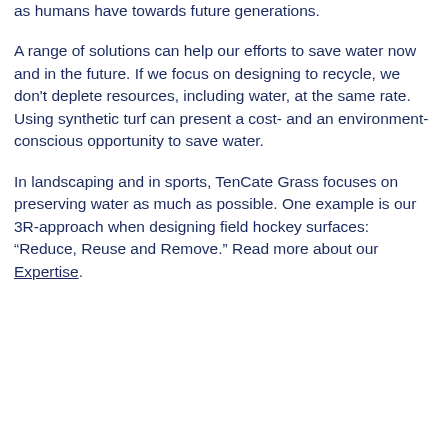as humans have towards future generations.
A range of solutions can help our efforts to save water now and in the future. If we focus on designing to recycle, we don't deplete resources, including water, at the same rate. Using synthetic turf can present a cost- and an environment-conscious opportunity to save water.
In landscaping and in sports, TenCate Grass focuses on preserving water as much as possible. One example is our 3R-approach when designing field hockey surfaces: “Reduce, Reuse and Remove.” Read more about our Expertise.